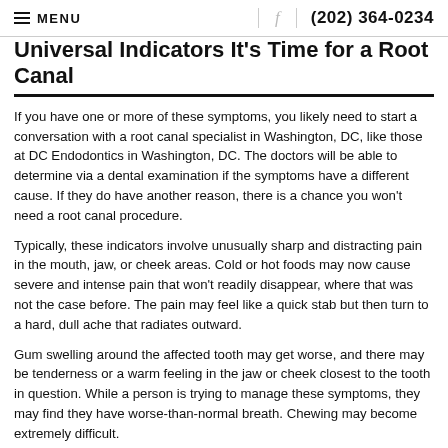MENU  f  (202) 364-0234
Universal Indicators It's Time for a Root Canal
If you have one or more of these symptoms, you likely need to start a conversation with a root canal specialist in Washington, DC, like those at DC Endodontics in Washington, DC. The doctors will be able to determine via a dental examination if the symptoms have a different cause. If they do have another reason, there is a chance you won't need a root canal procedure.
Typically, these indicators involve unusually sharp and distracting pain in the mouth, jaw, or cheek areas. Cold or hot foods may now cause severe and intense pain that won't readily disappear, where that was not the case before. The pain may feel like a quick stab but then turn to a hard, dull ache that radiates outward.
Gum swelling around the affected tooth may get worse, and there may be tenderness or a warm feeling in the jaw or cheek closest to the tooth in question. While a person is trying to manage these symptoms, they may find they have worse-than-normal breath. Chewing may become extremely difficult.
Different levels of pain will be felt differently at various times. In all